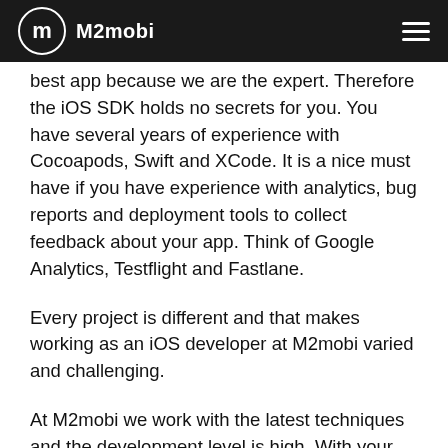M2mobi
best app because we are the expert. Therefore the iOS SDK holds no secrets for you. You have several years of experience with Cocoapods, Swift and XCode. It is a nice must have if you have experience with analytics, bug reports and deployment tools to collect feedback about your app. Think of Google Analytics, Testflight and Fastlane.
Every project is different and that makes working as an iOS developer at M2mobi varied and challenging.
At M2mobi we work with the latest techniques and the development level is high. With your enthusiasm to become (much) better and to learn from our senior developers, M2mobi is the right place for you. We want to get even better with every project and every